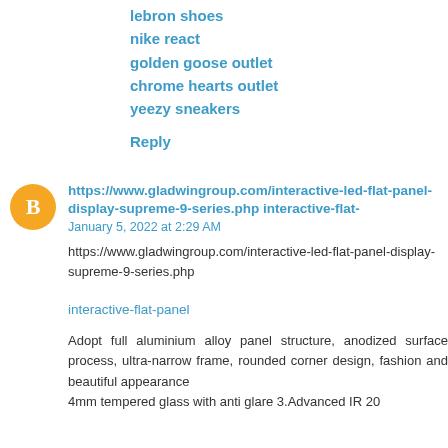lebron shoes
nike react
golden goose outlet
chrome hearts outlet
yeezy sneakers
Reply
https://www.gladwingroup.com/interactive-led-flat-panel-display-supreme-9-series.php interactive-flat-
January 5, 2022 at 2:29 AM
https://www.gladwingroup.com/interactive-led-flat-panel-display-supreme-9-series.php
interactive-flat-panel
Adopt full aluminium alloy panel structure, anodized surface process, ultra-narrow frame, rounded corner design, fashion and beautiful appearance
4mm tempered glass with anti glare 3.Advanced IR 20